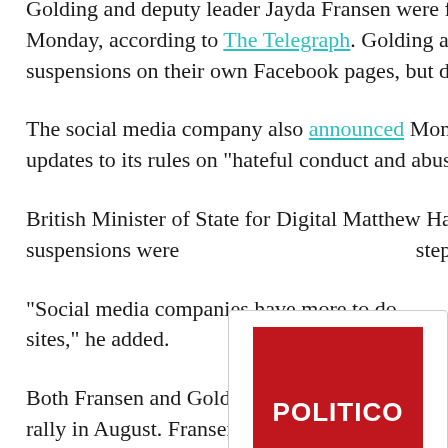Golding and deputy leader Jayda Fransen were first blocked by Twitter on Monday, according to The Telegraph. Golding and Fransen confirmed the suspensions on their own Facebook pages, but did not comment further.
The social media company also announced Monday it would begin enforcing updates to its rules on “hateful conduct and abusive behavior.”
British Minister of State for Digital Matthew Hancock tweeted that the account suspensions were [a] step forward” for Twitter.
“Social media companies have more to do [to prevent] harm on their sites,” he added.
[Figure (logo): Politico logo card: dark red square with white text POLITICO, and the word Politico in bold black text below]
Both Fransen and Golding are being investigated [for] speeches made at a Belfast rally in August. Fransen faces